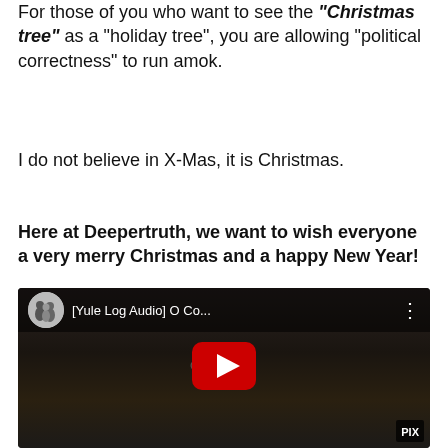For those of you who want to see the "Christmas tree" as a "holiday tree", you are allowing "political correctness" to run amok.
I do not believe in X-Mas, it is Christmas.
Here at Deepertruth, we want to wish everyone a very merry Christmas and a happy New Year!
[Figure (screenshot): YouTube video thumbnail for '[Yule Log Audio] O Co...' with play button and channel avatar]